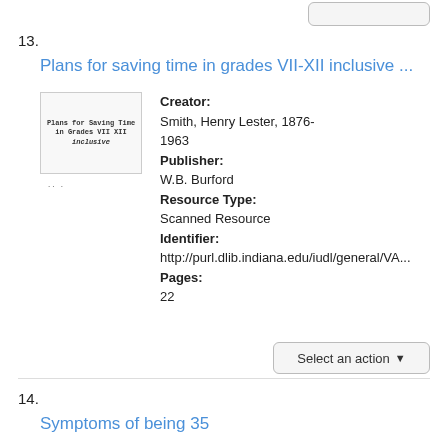13.
Plans for saving time in grades VII-XII inclusive ...
[Figure (photo): Thumbnail image of a book cover showing 'Plans for Saving Time in Grades VII XII' with author text]
Creator: Smith, Henry Lester, 1876-1963
Publisher: W.B. Burford
Resource Type: Scanned Resource
Identifier: http://purl.dlib.indiana.edu/iudl/general/VA...
Pages: 22
14.
Symptoms of being 35